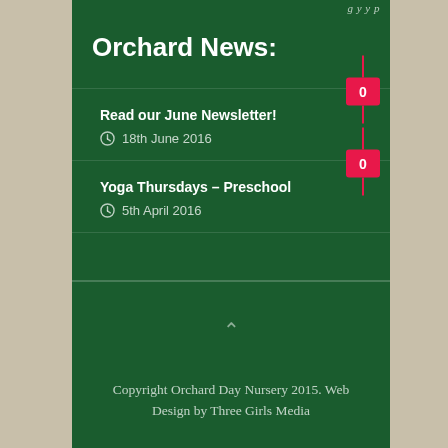Orchard News:
Read our June Newsletter! — 18th June 2016
Yoga Thursdays – Preschool — 5th April 2016
Copyright Orchard Day Nursery 2015. Web Design by Three Girls Media